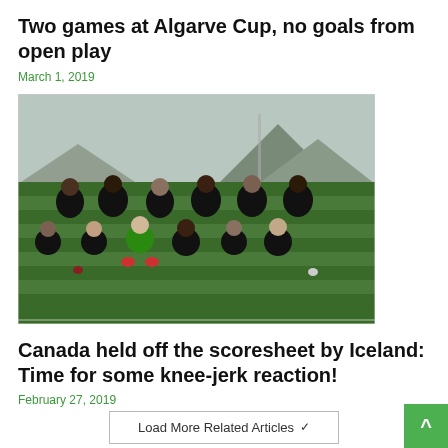Two games at Algarve Cup, no goals from open play
March 1, 2019
[Figure (photo): Group photo of the Canadian women's soccer team on a football pitch, wearing black kits, with mountains and cloudy sky in the background. Two rows: back row standing, front row crouching.]
Canada held off the scoresheet by Iceland: Time for some knee-jerk reaction!
February 27, 2019
Load More Related Articles ∨